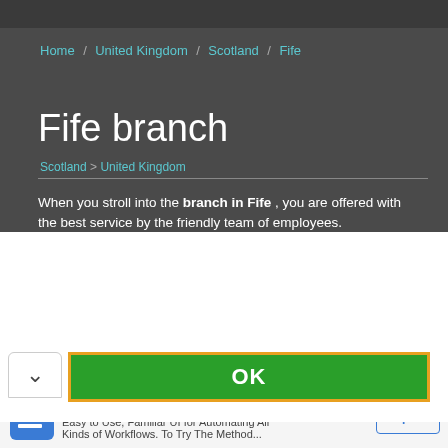Home / United Kingdom / Scotland / Fife
Fife branch
Scotland > United Kingdom
When you stroll into the branch in Fife , you are offered with the best service by the friendly team of employees. Branch in Fife knows about the ideal investment
improve your browsing experience on our website, to show you personalized content and targeted ads, to analyze our website traffic, and to understand where our visitors are coming from.
OK
[Figure (other): Advertisement banner: Task Executions With No Limits - Easy to Use, Familiar UI for Automating All Kinds of Workflows. Open button.]